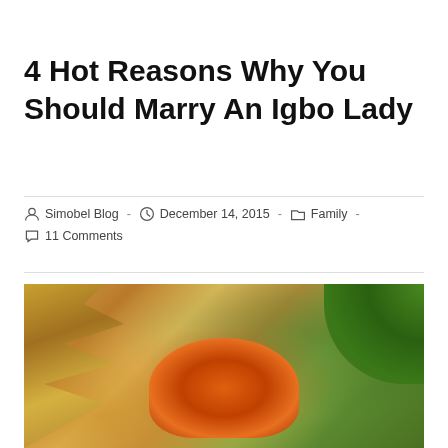4 Hot Reasons Why You Should Marry An Igbo Lady
Simobel Blog  -  December 14, 2015  -  Family  -  11 Comments
[Figure (photo): A woman wearing an orange traditional headwrap and attire, with palm fronds on the left and green tropical foliage on the right in the background.]